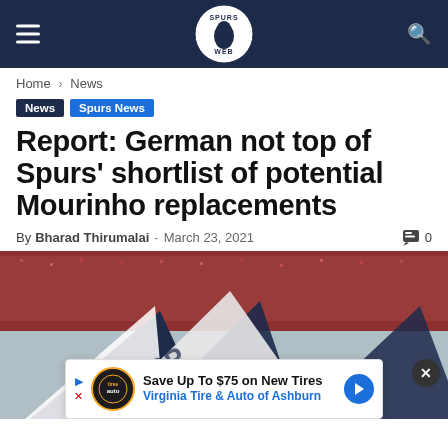The Spurs Web
Home › News
News
Spurs News
Report: German not top of Spurs' shortlist of potential Mourinho replacements
By Bharad Thirumalai - March 23, 2021 · 0
[Figure (photo): Tottenham Hotspur scarves and flags being waved in a stadium with crowd in background]
Save Up To $75 on New Tires Virginia Tire & Auto of Ashburn